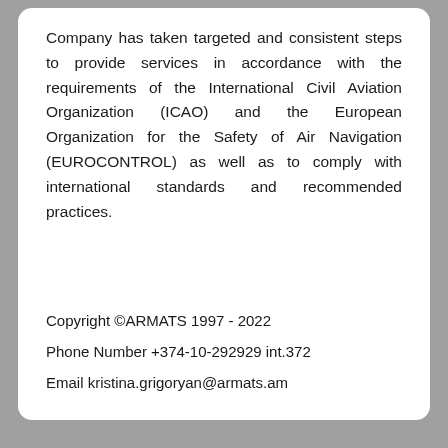Company has taken targeted and consistent steps to provide services in accordance with the requirements of the International Civil Aviation Organization (ICAO) and the European Organization for the Safety of Air Navigation (EUROCONTROL) as well as to comply with international standards and recommended practices.
Copyright ©ARMATS 1997 - 2022
Phone Number +374-10-292929 int.372
Email kristina.grigoryan@armats.am